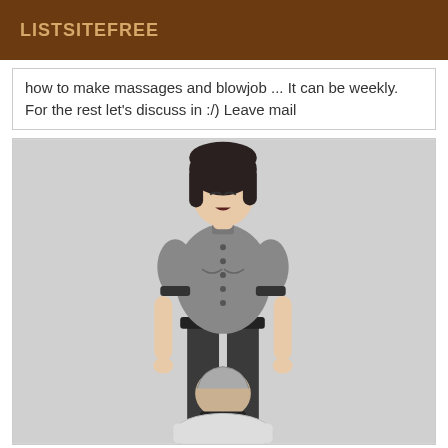LISTSITEFREE
how to make massages and blowjob ... It can be weekly. For the rest let's discuss in :/) Leave mail
[Figure (illustration): Line-art illustration of a standing woman in a button-up short-sleeve shirt and dark pants, looking down at a person kneeling in front of her, seen from behind, wearing a collar.]